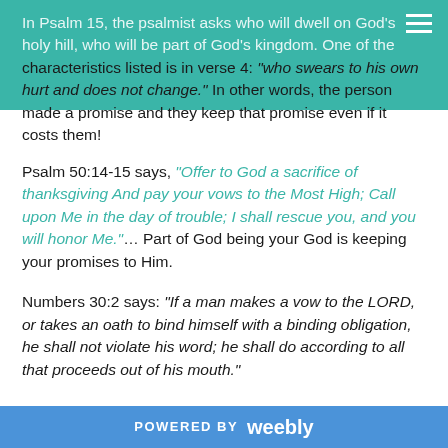In Psalm 15, the psalmist asks who will dwell on God's holy hill, who will be part of God's kingdom. One of the characteristics listed is in verse 4: "who swears to his own hurt and does not change." In other words, the person made a promise and they keep that promise even if it costs them!
Psalm 50:14-15 says, "Offer to God a sacrifice of thanksgiving And pay your vows to the Most High; Call upon Me in the day of trouble; I shall rescue you, and you will honor Me."…  Part of God being your God is keeping your promises to Him.
Numbers 30:2 says: "If a man makes a vow to the LORD, or takes an oath to bind himself with a binding obligation, he shall not violate his word; he shall do according to all that proceeds out of his mouth."
POWERED BY weebly